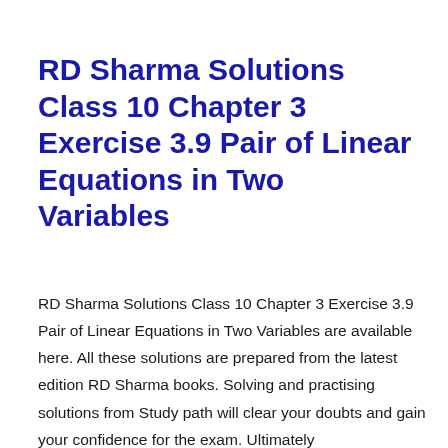RD Sharma Solutions Class 10 Chapter 3 Exercise 3.9 Pair of Linear Equations in Two Variables
RD Sharma Solutions Class 10 Chapter 3 Exercise 3.9 Pair of Linear Equations in Two Variables are available here. All these solutions are prepared from the latest edition RD Sharma books. Solving and practising solutions from Study path will clear your doubts and gain your confidence for the exam. Ultimately...